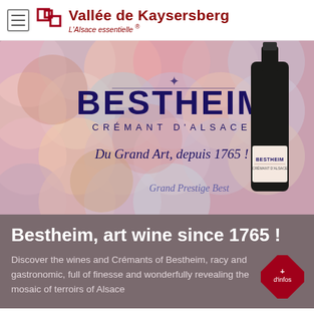Vallée de Kaysersberg — L'Alsace essentielle ®
[Figure (photo): Bestheim Crémant d'Alsace advertisement banner with geometric pink/peach circle pattern background, 'BESTHEIM' in large navy text, 'CRÉMANT D'ALSACE' subtitle, 'Du Grand Art, depuis 1765 !' tagline, a cursive signature, and a bottle of Bestheim wine on the right side.]
Bestheim, art wine since 1765 !
Discover the wines and Crémants of Bestheim, racy and gastronomic, full of finesse and wonderfully revealing the mosaic of terroirs of Alsace